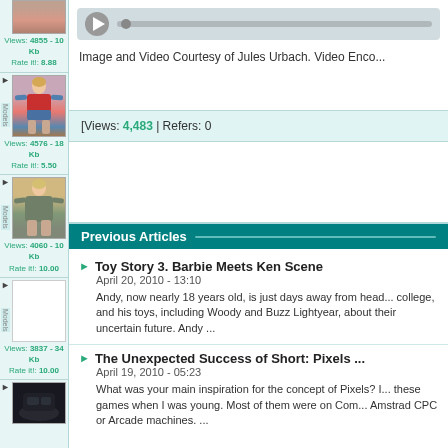[Figure (photo): 3D model of a female character in red/blue outfit, T-pose]
Views: 4576 - 18 Kb
Rate it!: 5.50
[Figure (photo): 3D model of a female character in grey/green outfit, T-pose]
Views: 4060 - 10 Kb
Rate it!: 10.00
[Figure (photo): 3D model placeholder (empty white box)]
Views: 3837 - 34 Kb
Rate it!: 10.00
[Figure (photo): Dark screenshot of a car interior scene]
[Figure (screenshot): Video player bar with play button and progress bar]
Image and Video Courtesy of Jules Urbach. Video Enco...
[Views: 4,483 | Refers: 0
Previous Articles
Toy Story 3. Barbie Meets Ken Scene
April 20, 2010 - 13:10
Andy, now nearly 18 years old, is just days away from head... college, and his toys, including Woody and Buzz Lightyear, about their uncertain future. Andy ...
The Unexpected Success of Short: Pixels ...
April 19, 2010 - 05:23
What was your main inspiration for the concept of Pixels? I... these games when I was young. Most of them were on Com... Amstrad CPC or Arcade machines. ...